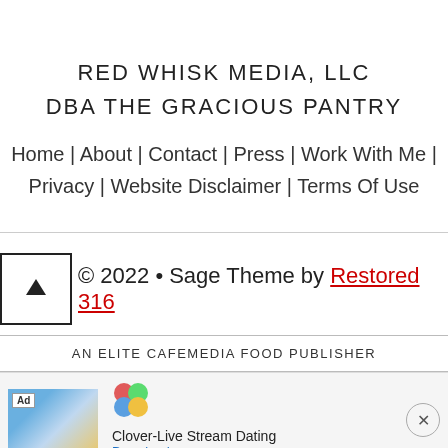RED WHISK MEDIA, LLC
DBA THE GRACIOUS PANTRY
Home | About | Contact | Press | Work With Me | Privacy | Website Disclaimer | Terms Of Use
© 2022 • Sage Theme by Restored 316
AN ELITE CAFEMEDIA FOOD PUBLISHER
[Figure (other): Advertisement banner for Clover-Live Stream Dating app with image of woman on beach, app logo, and Download button]